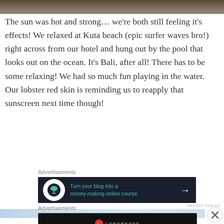[Figure (photo): Top edge of a photograph showing a beach/outdoor scene with dark sandy or rocky tones]
The sun was hot and strong… we're both still feeling it's effects! We relaxed at Kuta beach (epic surfer waves bro!) right across from our hotel and hung out by the pool that looks out on the ocean. It's Bali, after all! There has to be some relaxing! We had so much fun playing in the water. Our lobster red skin is reminding us to reapply that sunscreen next time though!
Advertisements
[Figure (screenshot): Advertisement banner: dark background with white circle icon (bonsai tree), teal text 'Turn your blog into a money-making online course.' with white arrow]
REPORT THIS AD
[Figure (photo): Partial photograph showing blue sky with light clouds]
Advertisements
[Figure (screenshot): Longreads advertisement: dark background with red circular logo, text 'LONGREADS' and 'Read anything great lately?']